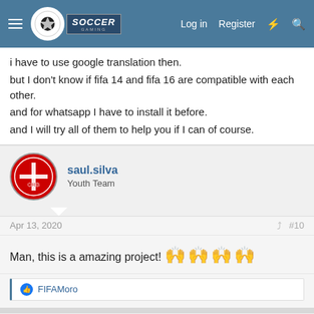Soccer Gaming - Log in | Register
i have to use google translation then.
but I don't know if fifa 14 and fifa 16 are compatible with each other.
and for whatsapp I have to install it before.
and I will try all of them to help you if I can of course.
saul.silva
Youth Team
Apr 13, 2020  #10
Man, this is a amazing project! 👐👐👐👐
FIFAMoro
vishal_india
Youth Team